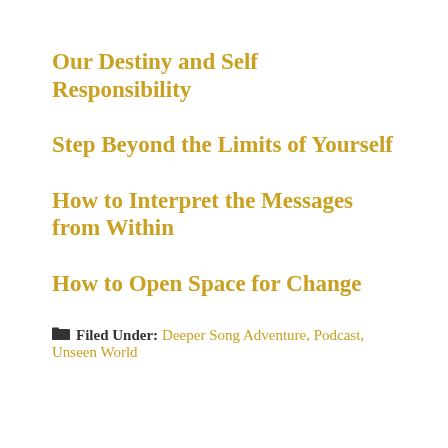Our Destiny and Self Responsibility
Step Beyond the Limits of Yourself
How to Interpret the Messages from Within
How to Open Space for Change
Filed Under: Deeper Song Adventure, Podcast, Unseen World